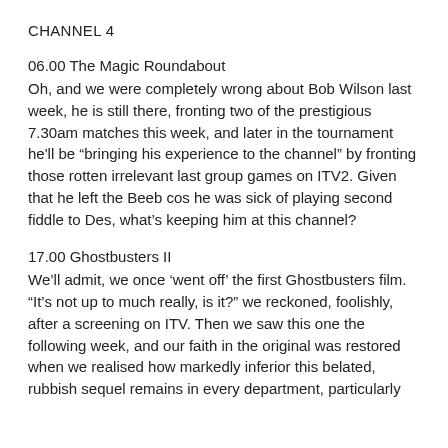CHANNEL 4
06.00 The Magic Roundabout
Oh, and we were completely wrong about Bob Wilson last week, he is still there, fronting two of the prestigious 7.30am matches this week, and later in the tournament he'll be “bringing his experience to the channel” by fronting those rotten irrelevant last group games on ITV2. Given that he left the Beeb cos he was sick of playing second fiddle to Des, what’s keeping him at this channel?
17.00 Ghostbusters II
We’ll admit, we once ‘went off’ the first Ghostbusters film. “It’s not up to much really, is it?” we reckoned, foolishly, after a screening on ITV. Then we saw this one the following week, and our faith in the original was restored when we realised how markedly inferior this belated, rubbish sequel remains in every department, particularly